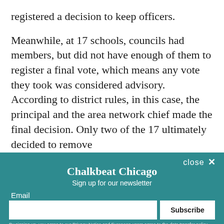registered a decision to keep officers.
Meanwhile, at 17 schools, councils had members, but did not have enough of them to register a final vote, which means any vote they took was considered advisory. According to district rules, in this case, the principal and the area network chief made the final decision. Only two of the 17 ultimately decided to remove officers.
[Figure (screenshot): Newsletter signup modal overlay for Chalkbeat Chicago. Teal/dark cyan background with title 'Chalkbeat Chicago', subtitle 'Sign up for our newsletter', email input field, Subscribe button, and privacy notice disclaimer. Close button (X) in top right.]